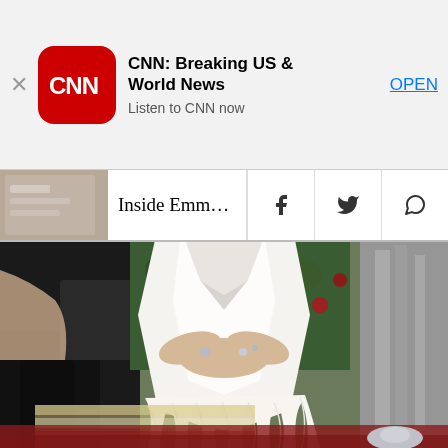[Figure (screenshot): Mobile app store banner for CNN: Breaking US & World News app with red CNN logo icon, app name, tagline 'Listen to CNN now', and OPEN button]
[Figure (screenshot): Mobile browser navigation bar showing a thumbnail image, article title 'Inside Emma Stone's Malibu' truncated, with Facebook, Twitter, and WhatsApp share icons]
[Figure (photo): Photo of Emma Stone wearing a white sleeveless gown with feather trim at the hem, standing on a red carpet. She is clasping her hands in front wearing rings. Other attendees are partially visible on either side. Green foliage with red roses is in the background.]